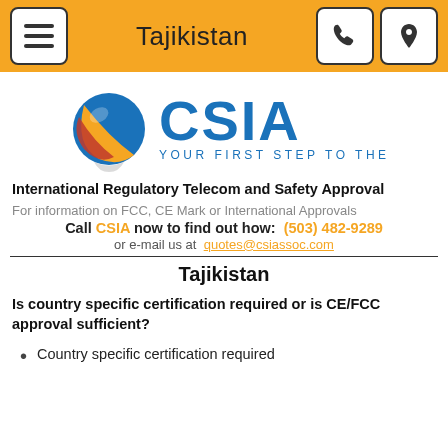Tajikistan
[Figure (logo): CSIA logo with globe icon and tagline YOUR FIRST STEP TO THE WORLD]
International Regulatory Telecom and Safety Approval
For information on FCC, CE Mark or International Approvals
Call CSIA now to find out how:  (503) 482-9289
or e-mail us at  quotes@csiassoc.com
Tajikistan
Is country specific certification required or is CE/FCC approval sufficient?
Country specific certification required